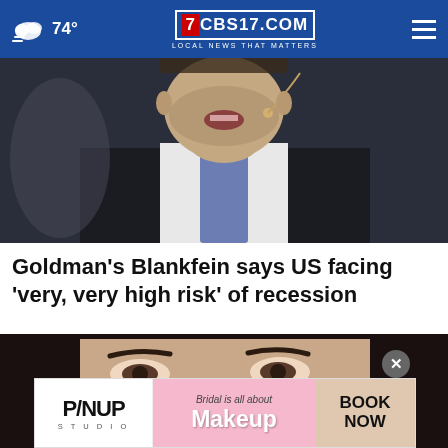74° | CBS17.COM LOCAL NEWS THAT MATTERS
[Figure (photo): Close-up of a man in a suit with a microphone headset, speaking at an event]
Goldman's Blankfein says US facing 'very, very high risk' of recession
[Figure (photo): Close-up of a young woman with dark hair, applying something near her face]
[Figure (other): Advertisement for P/NUP STUDIO - Bridal is all about Makeup - BOOK NOW]